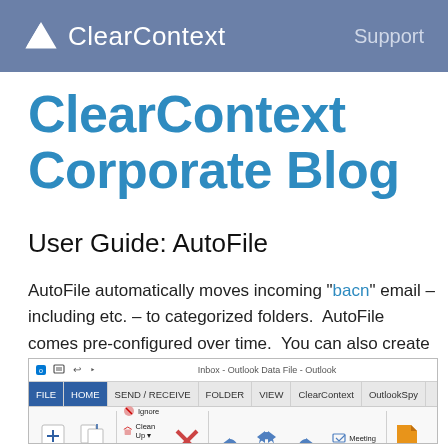ClearContext  Support
ClearContext Corporate Blog
User Guide: AutoFile
AutoFile automatically moves incoming "bacn" email – inclu... etc. – to categorized folders.  AutoFile comes pre-configured over time.  You can also create your own AutoFile rules.
[Figure (screenshot): Outlook ribbon screenshot showing FILE, HOME, SEND/RECEIVE, FOLDER, VIEW, ClearContext, OutlookSpy tabs with ribbon buttons and a ClearContext AutoFile dialog box at the bottom.]